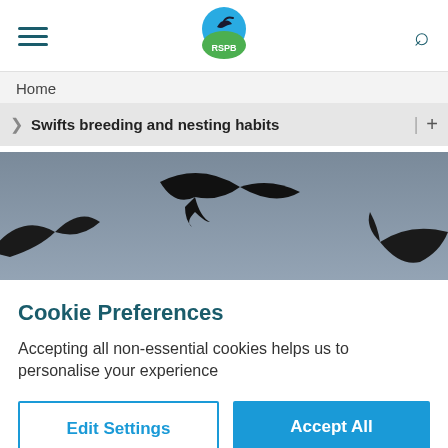RSPB website header with hamburger menu, RSPB logo, and search icon
Home
Swifts breeding and nesting habits
[Figure (photo): Silhouettes of swifts in flight against a grey-blue sky]
Cookie Preferences
Accepting all non-essential cookies helps us to personalise your experience
Edit Settings
Accept All